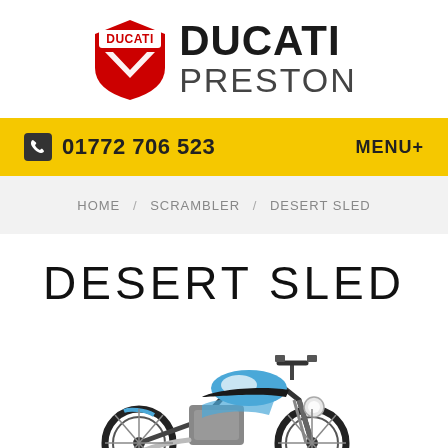[Figure (logo): Ducati Preston logo with red Ducati shield emblem and bold text 'DUCATI PRESTON']
01772 706523   MENU+
HOME / SCRAMBLER / DESERT SLED
DESERT SLED
[Figure (photo): Ducati Scrambler Desert Sled motorcycle in blue and white colorway, side profile view]